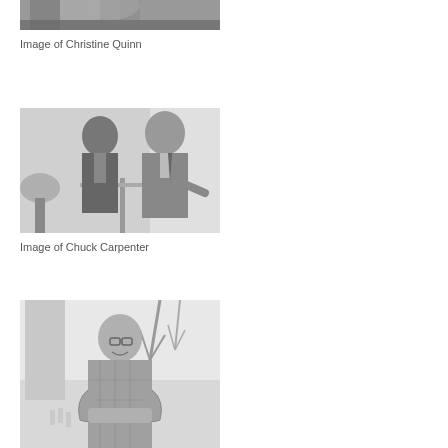[Figure (photo): Black and white photo of Christine Quinn, partially cropped at top]
Image of Christine Quinn
[Figure (photo): Black and white photo of Chuck Carpenter, two men in suits indoors]
Image of Chuck Carpenter
[Figure (photo): Black and white photo of a man with glasses and crossed arms, standing outdoors near a monument]